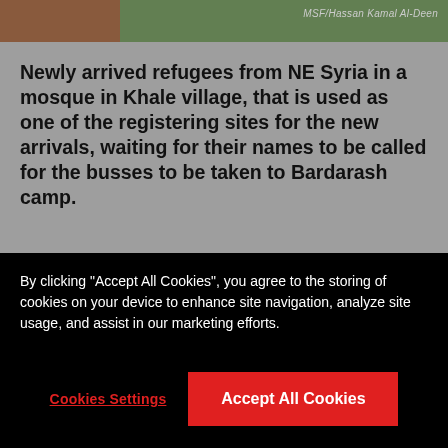[Figure (photo): Top portion of a photo showing newly arrived refugees, with photo credit reading MSF/Hassan Kamal Al-Deen]
Newly arrived refugees from NE Syria in a mosque in Khale village, that is used as one of the registering sites for the new arrivals, waiting for their names to be called for the busses to be taken to Bardarash camp.
“There is no safety in Syria anymore,” said Salih. “I don’t sleep and eat properly. I’m scared, I don’t want to go back, I want to be able to sleep without the sound of gunshots and explosions and the fear of a rocket hitting my house.”
By clicking “Accept All Cookies”, you agree to the storing of cookies on your device to enhance site navigation, analyze site usage, and assist in our marketing efforts.
Cookies Settings
Accept All Cookies